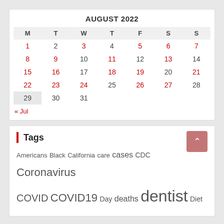AUGUST 2022
| M | T | W | T | F | S | S |
| --- | --- | --- | --- | --- | --- | --- |
| 1 | 2 | 3 | 4 | 5 | 6 | 7 |
| 8 | 9 | 10 | 11 | 12 | 13 | 14 |
| 15 | 16 | 17 | 18 | 19 | 20 | 21 |
| 22 | 23 | 24 | 25 | 26 | 27 | 28 |
| 29 | 30 | 31 |  |  |  |  |
« Jul
Tags
Americans Black California care cases CDC Coronavirus COVID COVID19 Day deaths dentist Diet ... ... health